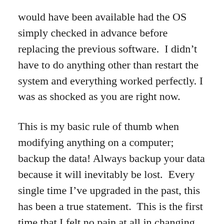would have been available had the OS simply checked in advance before replacing the previous software.  I didn't have to do anything other than restart the system and everything worked perfectly. I was as shocked as you are right now.
This is my basic rule of thumb when modifying anything on a computer; backup the data! Always backup your data because it will inevitably be lost.  Every single time I've upgraded in the past, this has been a true statement.  This is the first time that I felt no pain at all in changing to a new OS. I'm seriously waiting for the other shoe to drop.  It couldn't possibly be this easy.